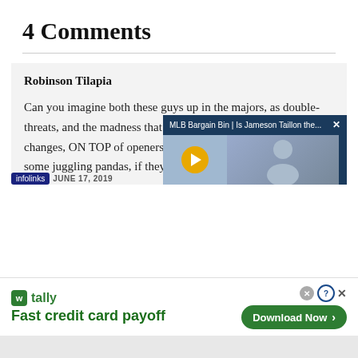4 Comments
Robinson Tilapia
Can you imagine both these guys up in the majors, as double-threats, and the madness that could go on with positional changes, ON TOP of openers pitching a few times a week. Add some juggling pandas, if they out-Maddon Maddon.
JUNE 17, 2019
[Figure (screenshot): Video popup overlay showing MLB Bargain Bin | Is Jameson Taillon the... title with close button, and thumbnail images]
[Figure (screenshot): Advertisement banner for Tally app with tagline Fast credit card payoff and Download Now button]